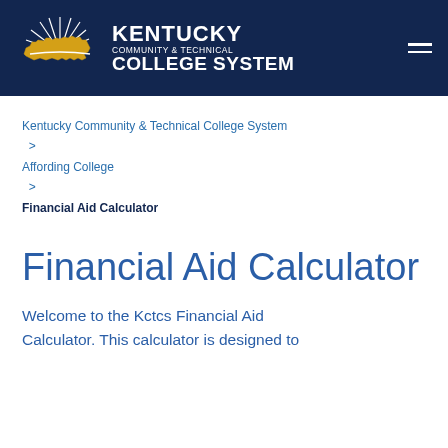[Figure (logo): Kentucky Community & Technical College System logo with golden Kentucky state shape and white text on dark navy background]
Kentucky Community & Technical College System > Affording College > Financial Aid Calculator
Financial Aid Calculator
Welcome to the Kctcs Financial Aid Calculator. This calculator is designed to